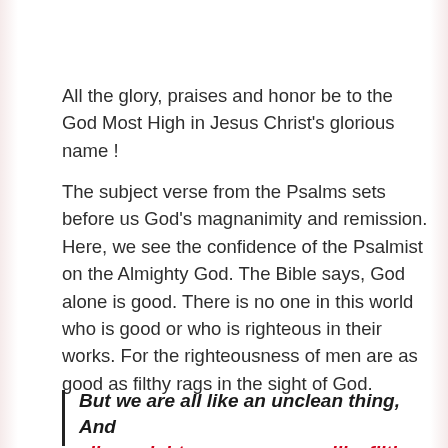All the glory, praises and honor be to the God Most High in Jesus Christ's glorious name !
The subject verse from the Psalms sets before us God's magnanimity and remission. Here, we see the confidence of the Psalmist on the Almighty God. The Bible says, God alone is good. There is no one in this world who is good or who is righteous in their works. For the righteousness of men are as good as filthy rags in the sight of God.
But we are all like an unclean thing, And all our righteousnesses are like filthy